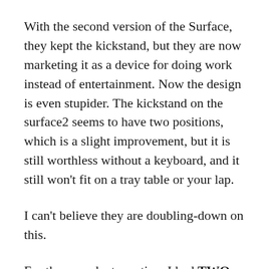With the second version of the Surface, they kept the kickstand, but they are now marketing it as a device for doing work instead of entertainment. Now the design is even stupider. The kickstand on the surface2 seems to have two positions, which is a slight improvement, but it is still worthless without a keyboard, and it still won't fit on a tray table or your lap.
I can't believe they are doubling-down on this.
For the record, at one time I had TWO surface RTs. I had my company purchase one for me when they were first launched. I seriously tried to use it and gave up after a couple weeks of